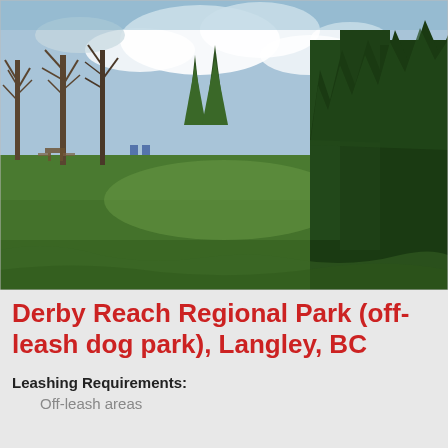[Figure (photo): Outdoor photo of Derby Reach Regional Park showing a wide green grass field with bare deciduous trees on the left and dense evergreen trees on the right, under a partly cloudy sky. A picnic table and benches are visible in the background on the left.]
Derby Reach Regional Park (off-leash dog park), Langley, BC
Leashing Requirements:
Off-leash areas